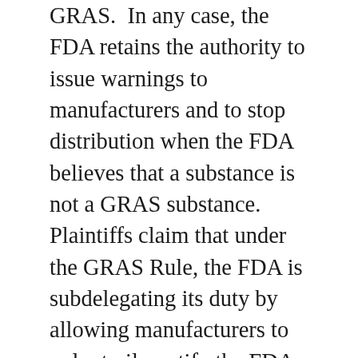GRAS.  In any case, the FDA retains the authority to issue warnings to manufacturers and to stop distribution when the FDA believes that a substance is not a GRAS substance.  Plaintiffs claim that under the GRAS Rule, the FDA is subdelegating its duty by allowing manufacturers to voluntarily notify the FDA of a GRAS substance rather than requiring it.  However, the Federal District Court for the Southern District of New York found that the FDA did not subdelegate its duties because the FDCA does not require the FDA provide